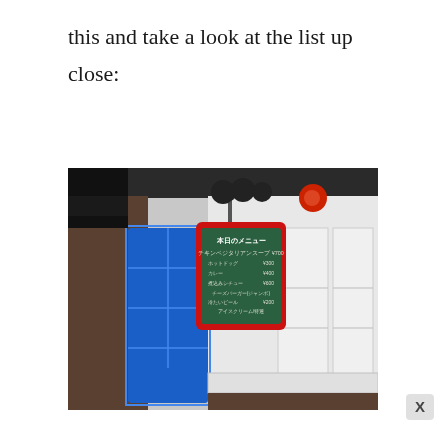this and take a look at the list up close:
[Figure (photo): A photograph of the exterior of a Japanese restaurant or café, showing a bright blue door on the left, white-framed windows on the right, and a green chalkboard menu sign with a red border hanging in the center. The menu is written in Japanese. Decorative circular objects are visible above the sign.]
X